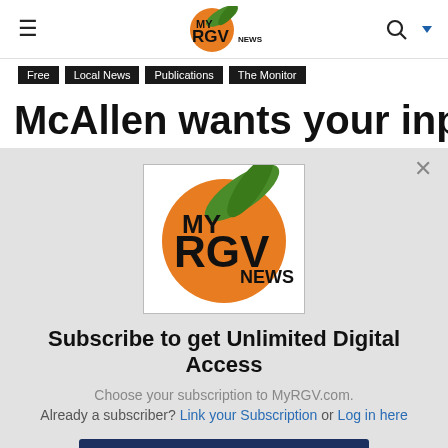MyRGV News
Free | Local News | Publications | The Monitor
McAllen wants your input
[Figure (logo): MyRGV News circular logo with orange sun and palm frond]
Subscribe to get Unlimited Digital Access
Choose your subscription to MyRGV.com.
Already a subscriber? Link your Subscription or Log in here
Subscribe